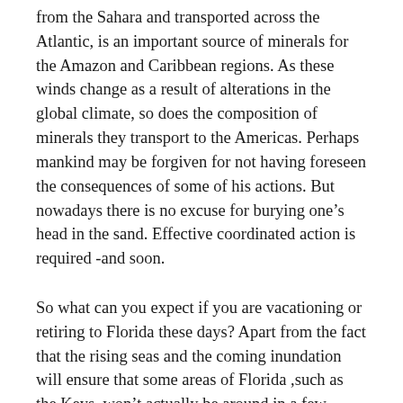from the Sahara and transported across the Atlantic, is an important source of minerals for the Amazon and Caribbean regions. As these winds change as a result of alterations in the global climate, so does the composition of minerals they transport to the Americas. Perhaps mankind may be forgiven for not having foreseen the consequences of some of his actions. But nowadays there is no excuse for burying one’s head in the sand. Effective coordinated action is required -and soon.
So what can you expect if you are vacationing or retiring to Florida these days? Apart from the fact that the rising seas and the coming inundation will ensure that some areas of Florida ,such as the Keys ,won’t actually be around in a few years, you will be subjected to toxic HABs that will make you really sick, you will be stung by gigantic jellyfish and you will be smothered by tons of fetid intestate, clogging